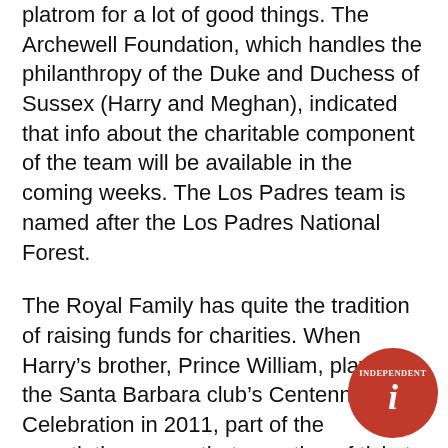platrom for a lot of good things. The Archewell Foundation, which handles the philanthropy of the Duke and Duchess of Sussex (Harry and Meghan), indicated that info about the charitable component of the team will be available in the coming weeks. The Los Padres team is named after the Los Padres National Forest.
The Royal Family has quite the tradition of raising funds for charities. When Harry's brother, Prince William, played at the Santa Barbara club's Centennial Celebration in 2011, part of the negotiations were that a portion of ticket proceeds go to his charity.
Sigman noted that while the announcement of the Prince playing here has brought a lot of attention to the club, Opening Day was sold out before the announcement. Despite all the excitement and publicity, the club is keeping its primary focus, according to Sigman, on tournament play and the sport that it loves.
[Figure (logo): The Independent newspaper logo — red circle with 'Independent' text and stylized 'i' in white]